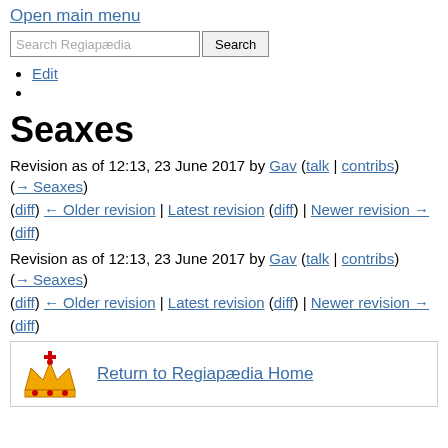Open main menu
Search Regiapædia [Search button]
Edit
Seaxes
Revision as of 12:13, 23 June 2017 by Gav (talk | contribs) (→Seaxes)
(diff) ← Older revision | Latest revision (diff) | Newer revision → (diff)
Revision as of 12:13, 23 June 2017 by Gav (talk | contribs) (→Seaxes)
(diff) ← Older revision | Latest revision (diff) | Newer revision → (diff)
Return to Regiapædia Home